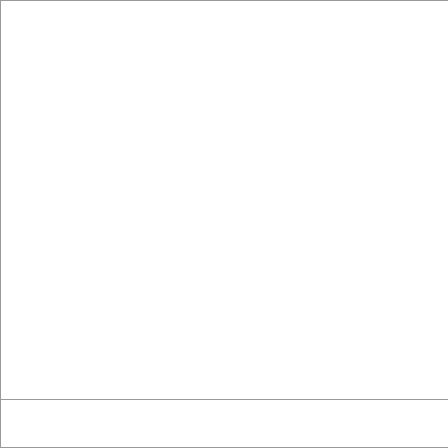|  |  |  | Codes (partial) |
| --- | --- | --- | --- |
|  |  |  | 012 01 |
|  |  |  | 017 02 |
|  |  |  | 028 02 |
|  |  |  | 031 03 |
|  |  |  | 035 04 |
|  |  |  | 041 04 |
|  |  |  | 050 05 |
|  |  |  | 052 05 |
|  |  |  | 054 06 |
|  |  |  | 064 06 |
|  |  |  | 066 07 |
|  |  |  | 072 07 |
|  |  |  | 074 08 |
|  |  |  | 088 09 |
|  |  |  | 094 10 |
|  |  |  | 102 10 |
|  |  |  | 501 XP |
| 14.1 | 22 | 001 00 |
|  |  | 002 00 |